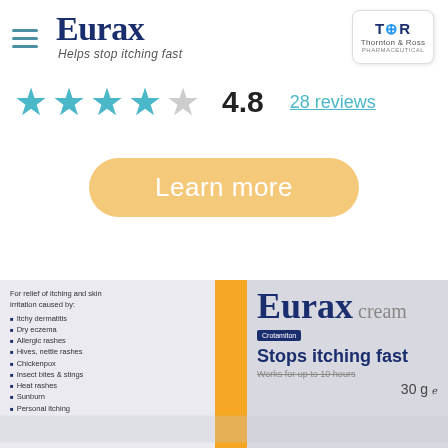Eurax — Helps stop itching fast
4.8   28 reviews
Learn more
[Figure (photo): Eurax cream 30g product box showing 'Stops itching fast' and list of conditions including itchy dermatitis, dry eczema, allergic rashes, hives, nettle rashes, chickenpox, insect bites & stings, heat rashes, sunburn, personal itching. Active ingredient: Crotamiton.]